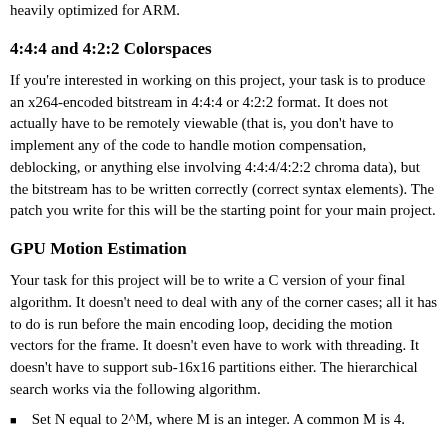heavily optimized for ARM.
4:4:4 and 4:2:2 Colorspaces
If you're interested in working on this project, your task is to produce an x264-encoded bitstream in 4:4:4 or 4:2:2 format. It does not actually have to be remotely viewable (that is, you don't have to implement any of the code to handle motion compensation, deblocking, or anything else involving 4:4:4/4:2:2 chroma data), but the bitstream has to be written correctly (correct syntax elements). The patch you write for this will be the starting point for your main project.
GPU Motion Estimation
Your task for this project will be to write a C version of your final algorithm. It doesn't need to deal with any of the corner cases; all it has to do is run before the main encoding loop, deciding the motion vectors for the frame. It doesn't even have to work with threading. It doesn't have to support sub-16x16 partitions either. The hierarchical search works via the following algorithm.
Set N equal to 2^M, where M is an integer. A common M is 4.